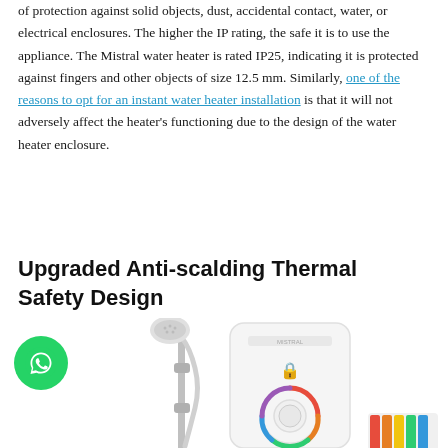of protection against solid objects, dust, accidental contact, water, or electrical enclosures. The higher the IP rating, the safe it is to use the appliance. The Mistral water heater is rated IP25, indicating it is protected against fingers and other objects of size 12.5 mm. Similarly, one of the reasons to opt for an instant water heater installation is that it will not adversely affect the heater's functioning due to the design of the water heater enclosure.
Upgraded Anti-scalding Thermal Safety Design
[Figure (photo): Photo of a Mistral instant water heater (white, rectangular with a colorful circular dial) alongside a shower head and rail, on a white background.]